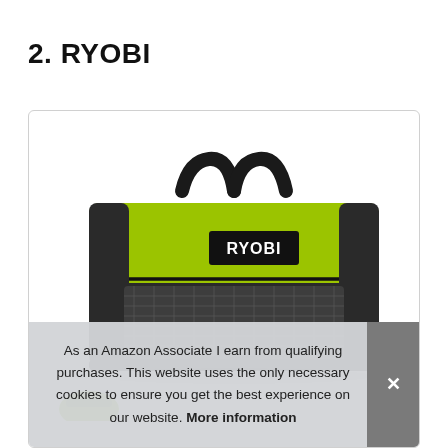2. RYOBI
[Figure (photo): RYOBI branded tool bag in green and black with carry handles and RYOBI logo patch, displayed in a white product card with a bottom tools strip showing power tools]
As an Amazon Associate I earn from qualifying purchases. This website uses the only necessary cookies to ensure you get the best experience on our website. More information